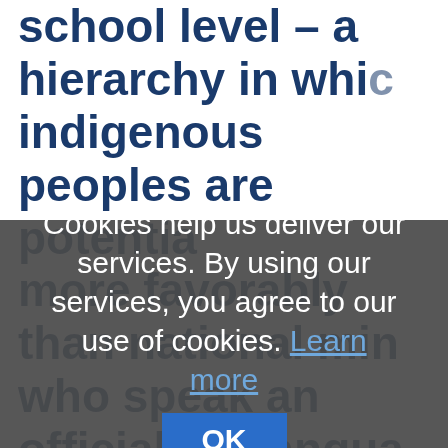school level – a hierarchy in which indigenous peoples are potentially treated more favorably than national minorities who speak an official EU language... other national minorities. Russ... deserves special attention... illiterate... Ukraine... this is a k...
Cookies help us deliver our services. By using our services, you agree to our use of cookies. Learn more  OK